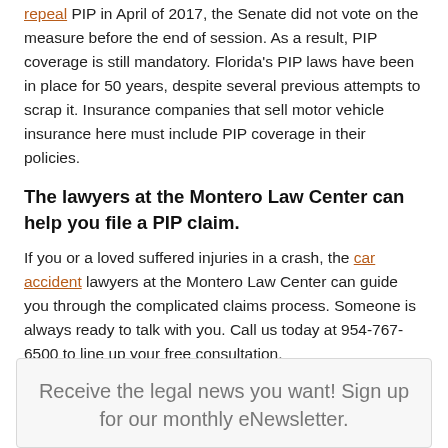repeal PIP in April of 2017, the Senate did not vote on the measure before the end of session. As a result, PIP coverage is still mandatory. Florida's PIP laws have been in place for 50 years, despite several previous attempts to scrap it. Insurance companies that sell motor vehicle insurance here must include PIP coverage in their policies.
The lawyers at the Montero Law Center can help you file a PIP claim.
If you or a loved suffered injuries in a crash, the car accident lawyers at the Montero Law Center can guide you through the complicated claims process. Someone is always ready to talk with you. Call us today at 954-767-6500 to line up your free consultation.
Receive the legal news you want! Sign up for our monthly eNewsletter.